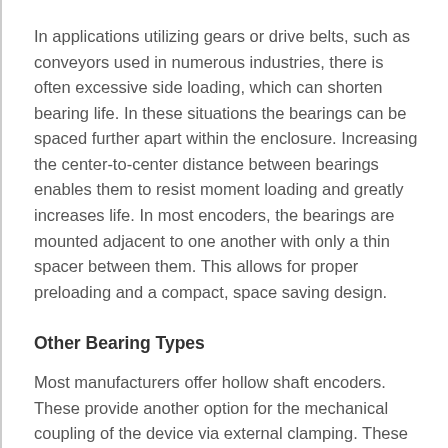In applications utilizing gears or drive belts, such as conveyors used in numerous industries, there is often excessive side loading, which can shorten bearing life. In these situations the bearings can be spaced further apart within the enclosure. Increasing the center-to-center distance between bearings enables them to resist moment loading and greatly increases life. In most encoders, the bearings are mounted adjacent to one another with only a thin spacer between them. This allows for proper preloading and a compact, space saving design.
Other Bearing Types
Most manufacturers offer hollow shaft encoders. These provide another option for the mechanical coupling of the device via external clamping. These